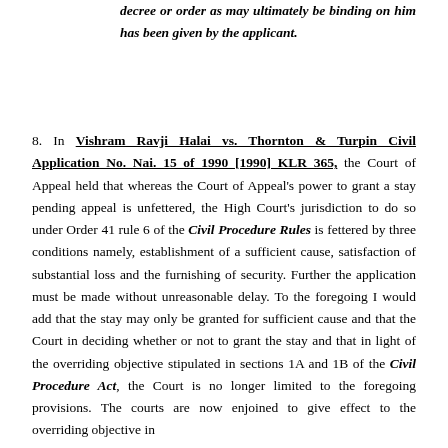decree or order as may ultimately be binding on him has been given by the applicant.
8. In Vishram Ravji Halai vs. Thornton & Turpin Civil Application No. Nai. 15 of 1990 [1990] KLR 365, the Court of Appeal held that whereas the Court of Appeal's power to grant a stay pending appeal is unfettered, the High Court's jurisdiction to do so under Order 41 rule 6 of the Civil Procedure Rules is fettered by three conditions namely, establishment of a sufficient cause, satisfaction of substantial loss and the furnishing of security. Further the application must be made without unreasonable delay. To the foregoing I would add that the stay may only be granted for sufficient cause and that the Court in deciding whether or not to grant the stay and that in light of the overriding objective stipulated in sections 1A and 1B of the Civil Procedure Act, the Court is no longer limited to the foregoing provisions. The courts are now enjoined to give effect to the overriding objective in